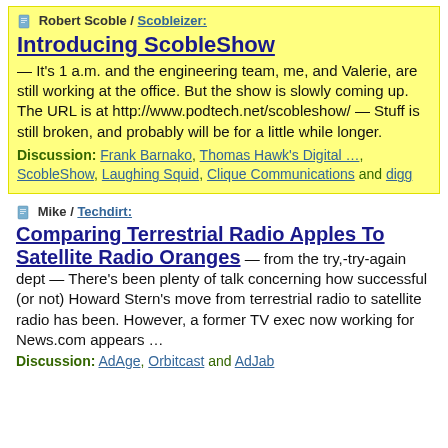Robert Scoble / Scobleizer:
Introducing ScobleShow
— It's 1 a.m. and the engineering team, me, and Valerie, are still working at the office. But the show is slowly coming up. The URL is at http://www.podtech.net/scobleshow/ — Stuff is still broken, and probably will be for a little while longer.
Discussion: Frank Barnako, Thomas Hawk's Digital …, ScobleShow, Laughing Squid, Clique Communications and digg
Mike / Techdirt:
Comparing Terrestrial Radio Apples To Satellite Radio Oranges
— from the try,-try-again dept — There's been plenty of talk concerning how successful (or not) Howard Stern's move from terrestrial radio to satellite radio has been. However, a former TV exec now working for News.com appears …
Discussion: AdAge, Orbitcast and AdJab